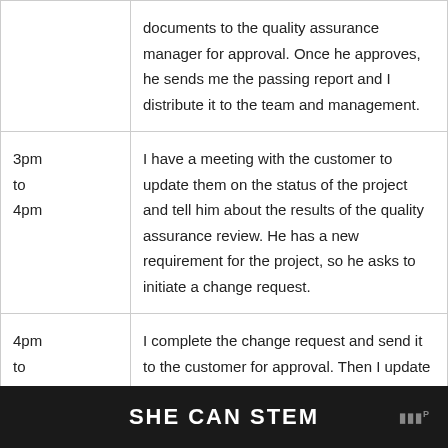| Time | Activity |
| --- | --- |
|  | documents to the quality assurance manager for approval. Once he approves, he sends me the passing report and I distribute it to the team and management. |
| 3pm to 4pm | I have a meeting with the customer to update them on the status of the project and tell him about the results of the quality assurance review. He has a new requirement for the project, so he asks to initiate a change request. |
| 4pm to 5pm | I complete the change request and send it to the customer for approval. Then I update the project plan and schedule, plus the finances if required, and send out the updated plan and information to the team. |
SHE CAN STEM